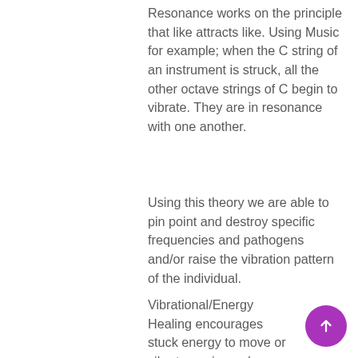Resonance works on the principle that like attracts like. Using Music for example; when the C string of an instrument is struck, all the other octave strings of C begin to vibrate. They are in resonance with one another.
Using this theory we are able to pin point and destroy specific frequencies and pathogens and/or raise the vibration pattern of the individual.
Vibrational/Energy Healing encourages stuck energy to move or vibrate again, and over-stimulated energy to calm and normalize. The body finds balance between the two by being able to move through the entire range of possibilities of frequencies fluidly and easily.
This science is the key to overall health and vitality, expansion, transformation of consciousness, and eventually, transcendence.
Like an orchestra, the system may be off balance due to a single note or a whole